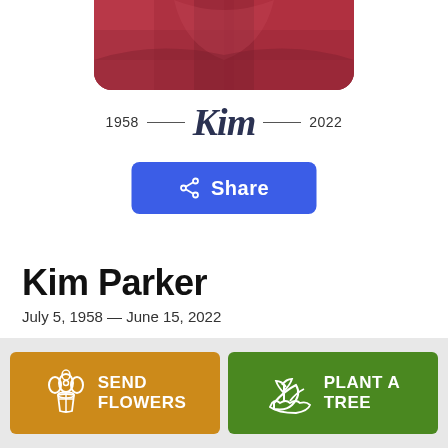[Figure (photo): Partial photo of person wearing red/crimson clothing, cropped at top of page]
1958 — Kim — 2022
[Figure (other): Blue Share button with share icon]
Kim Parker
July 5, 1958 — June 15, 2022
[Figure (other): Orange 'Send Flowers' button with flower bouquet icon and green 'Plant a Tree' button with plant icon]